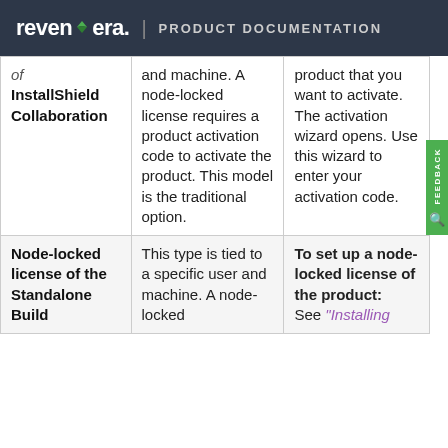revenera. PRODUCT DOCUMENTATION
| License Type | Description | How To |
| --- | --- | --- |
| of InstallShield Collaboration | and machine. A node-locked license requires a product activation code to activate the product. This model is the traditional option. | product that you want to activate. The activation wizard opens. Use this wizard to enter your activation code. |
| Node-locked license of the Standalone Build | This type is tied to a specific user and machine. A node-locked | To set up a node-locked license of the product: See "Installing |